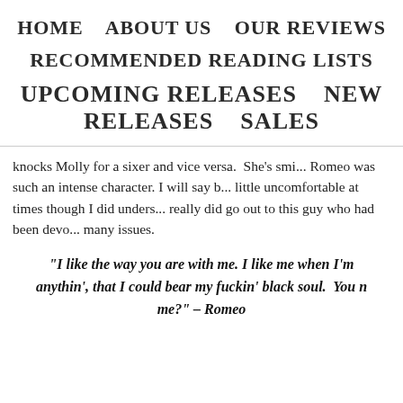HOME   ABOUT US   OUR REVIEWS
RECOMMENDED READING LISTS
UPCOMING RELEASES   NEW RELEASES   SALES
knocks Molly for a sixer and vice versa. She's smi... Romeo was such an intense character. I will say b... little uncomfortable at times though I did unders... really did go out to this guy who had been devo... many issues.
“I like the way you are with me. I like me when I'm... anythin’, that I could bear my fuckin’ black soul. You r... me?” – Romeo